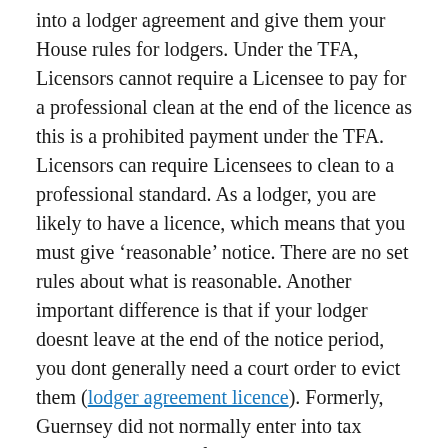into a lodger agreement and give them your House rules for lodgers. Under the TFA, Licensors cannot require a Licensee to pay for a professional clean at the end of the licence as this is a prohibited payment under the TFA. Licensors can require Licensees to clean to a professional standard. As a lodger, you are likely to have a licence, which means that you must give ‘reasonable’ notice. There are no set rules about what is reasonable. Another important difference is that if your lodger doesnt leave at the end of the notice period, you dont generally need a court order to evict them (lodger agreement licence). Formerly, Guernsey did not normally enter into tax treaties as a matter of policy. However, on 12 March 2012 the island signed a double taxation treaty with Malta. Guernsey now has a total of 13 full double taxation agreements in force, as shown in the table below: Guernsey has double taxation agreements with a number of countries, providing either exemptions from tax in one